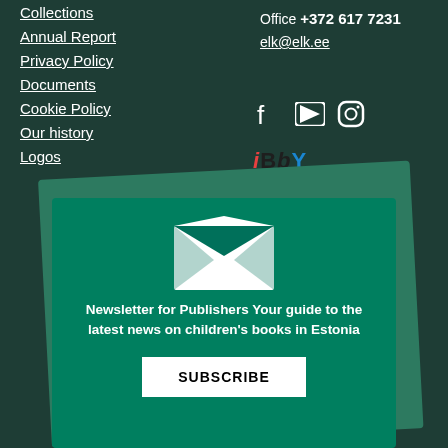Collections
Annual Report
Privacy Policy
Documents
Cookie Policy
Our history
Logos
Office +372 617 7231
elk@elk.ee
[Figure (logo): IBBY Estonia logo with colorful letters i, B, b, Y and ESTONIA text below]
[Figure (infographic): Newsletter signup card with envelope icon, text 'Newsletter for Publishers Your guide to the latest news on children's books in Estonia', and SUBSCRIBE button]
Newsletter for Publishers Your guide to the latest news on children's books in Estonia
SUBSCRIBE